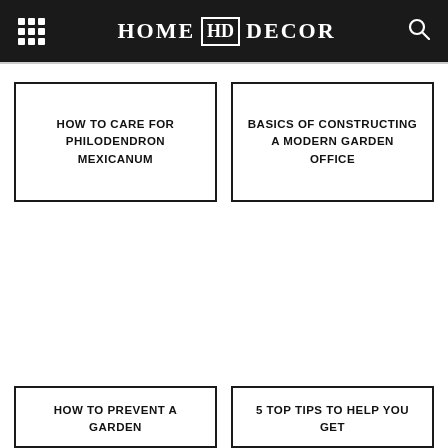HOME HD DECOR
HOW TO CARE FOR PHILODENDRON MEXICANUM
BASICS OF CONSTRUCTING A MODERN GARDEN OFFICE
HOW TO PREVENT A GARDEN
5 TOP TIPS TO HELP YOU GET